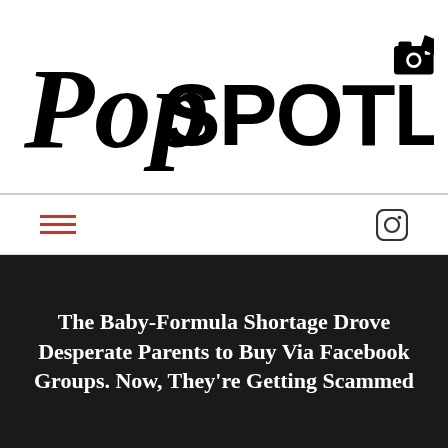[Figure (logo): PopSpotlight logo with stylized script 'Pop' and bold 'SPOTLIGHT' text with a camera icon]
Navigation bar with hamburger menu and Instagram icon
The Baby-Formula Shortage Drove Desperate Parents to Buy Via Facebook Groups. Now, They're Getting Scammed